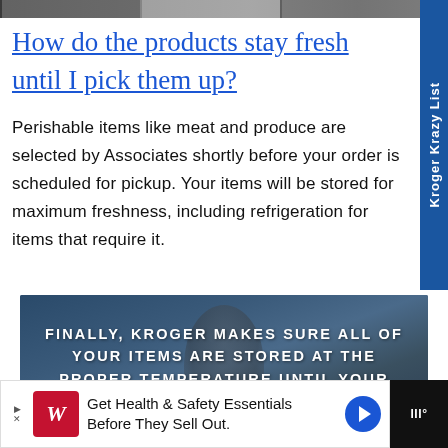[Figure (photo): Top strip showing thumbnails of article images]
How do the products stay fresh until I pick them up?
Perishable items like meat and produce are selected by Associates shortly before your order is scheduled for pickup. Your items will be stored for maximum freshness, including refrigeration for items that require it.
[Figure (photo): Kroger store associate with overlay text: Finally, Kroger makes sure all of your items are stored at the proper temperature until your pickup time!]
[Figure (infographic): Advertisement banner: Get Health & Safety Essentials Before They Sell Out. Walgreens logo shown.]